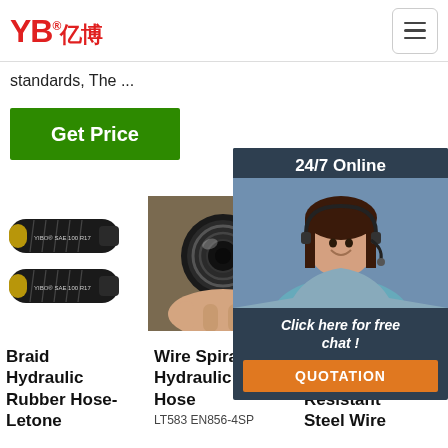[Figure (logo): YB亿博 company logo in red]
standards, The ...
[Figure (illustration): Get Price green button]
[Figure (illustration): 24/7 Online chat popup with customer service representative, Click here for free chat, QUOTATION button]
[Figure (photo): Braid Hydraulic Rubber Hose - two black hoses labeled YIBO SAE 100 R17]
[Figure (photo): Wire Spiral Hydraulic Hose - hand holding a spiral hose end]
[Figure (photo): Low Temperature Resistant Steel Wire hose product image]
Braid Hydraulic Rubber Hose-Letone
Wire Spiral Hydraulic Hose
LT583 EN856-4SP
Low Temperature Resistant Steel Wire